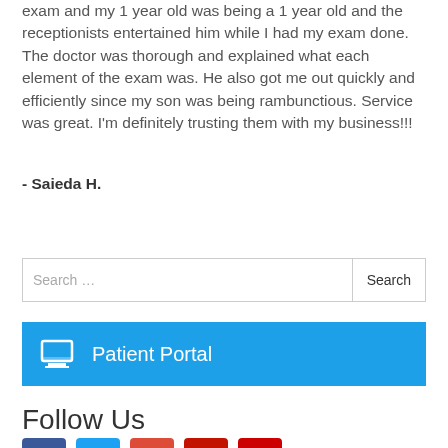exam and my 1 year old was being a 1 year old and the receptionists entertained him while I had my exam done. The doctor was thorough and explained what each element of the exam was. He also got me out quickly and efficiently since my son was being rambunctious. Service was great. I'm definitely trusting them with my business!!!
- Saieda H.
Search ...
Patient Portal
Follow Us